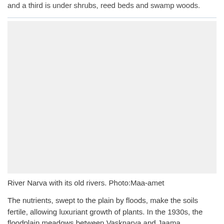and a third is under shrubs, reed beds and swamp woods.
[Figure (photo): Aerial or landscape photograph of River Narva with its old rivers, shown as a large blank/white image placeholder.]
River Narva with its old rivers. Photo:Maa-amet
The nutrients, swept to the plain by floods, make the soils fertile, allowing luxuriant growth of plants. In the 1930s, the floodplain meadows between Vasknarva and Jaama